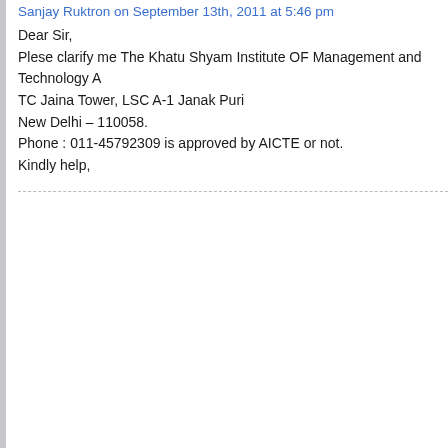Sanjay Ruktron on September 13th, 2011 at 5:46 pm
Dear Sir,
Plese clarify me The Khatu Shyam Institute OF Management and Technology A
TC Jaina Tower, LSC A-1 Janak Puri
New Delhi – 110058.
Phone : 011-45792309 is approved by AICTE or not.
Kindly help,